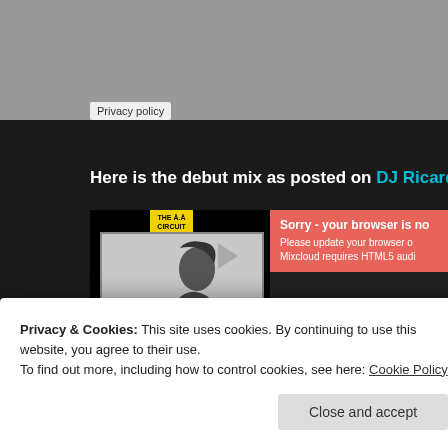[Figure (screenshot): Top gray background area of a web page]
Privacy policy
Here is the debut mix as posted on DJ Ricardo's Mix Clo...
[Figure (screenshot): Mixcloud embedded player with album art showing THE A.A CIRCUIT FACTORY badge and a black and white model photo. Player shows error: Sorry - your browser is no... Please update your browser o... Mixcloud requires HTML5 audi... Time shows 00:00. Stats show 389 plays, 7 favorites, 1 repost.]
Privacy & Cookies: This site uses cookies. By continuing to use this website, you agree to their use.
To find out more, including how to control cookies, see here: Cookie Policy
Close and accept